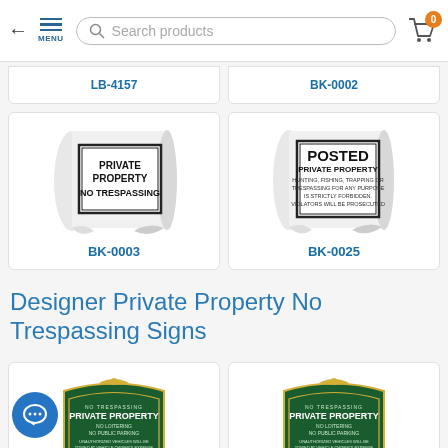← MENU | Search products | 0
LB-4157
BK-0002
[Figure (photo): Private Property No Trespassing sign on a rolled paper background, product code BK-0003]
BK-0003
[Figure (photo): Posted Private Property sign on a rolled paper background, product code BK-0025]
BK-0025
Designer Private Property No Trespassing Signs
[Figure (photo): Green designer No Trespassing Private Property sign with parking rules, product code K-3912]
K-3912
[Figure (photo): Green designer No Trespassing Private Property sign with parking rules, product code K-6843]
K-6843